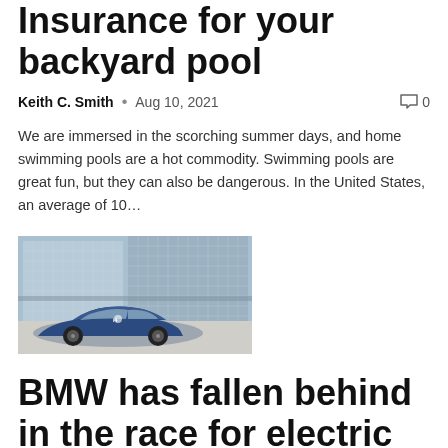Insurance for your backyard pool
Keith C. Smith  •  Aug 10, 2021  ◎ 0
We are immersed in the scorching summer days, and home swimming pools are a hot commodity. Swimming pools are great fun, but they can also be dangerous. In the United States, an average of 10…
[Figure (photo): A blue BMW i4 electric car parked in front of a modern glass-facade building]
BMW has fallen behind in the race for electric vehicles